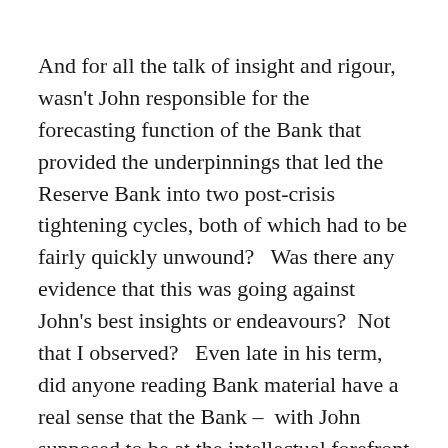And for all the talk of insight and rigour, wasn't John responsible for the forecasting function of the Bank that provided the underpinnings that led the Reserve Bank into two post-crisis tightening cycles, both of which had to be fairly quickly unwound?   Was there any evidence that this was going against John's best insights or endeavours?  Not that I observed?   Even late in his term, did anyone reading Bank material have a real sense that the Bank –  with John supposed to be at the intellectual forefront – was breaking new ground, was ahead of the pack in understanding quite what was going on with the economy?
Oh, and when it comes to shutting down debate/dissent/criticism, on what basis…